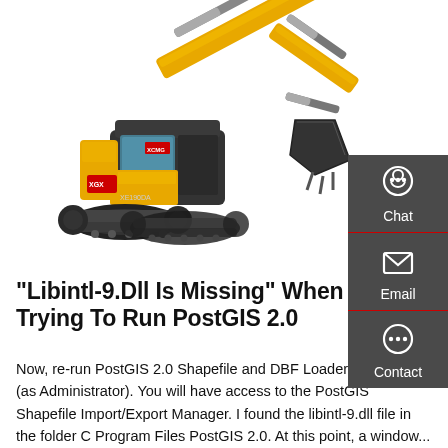[Figure (photo): Yellow XCMG brand excavator/crawler excavator on white background, viewed from the side, with boom arm raised]
"Libintl-9.Dll Is Missing" When Trying To Run PostGIS 2.0
Now, re-run PostGIS 2.0 Shapefile and DBF Loader Exporter (as Administrator). You will have access to the PostGIS Shapefile Import/Export Manager. I found the libintl-9.dll file in the folder C Program Files PostGIS 2.0. At this point, a window...